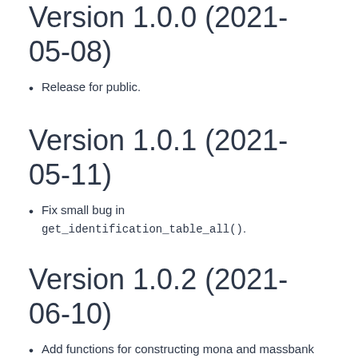Version 1.0.0 (2021-05-08)
Release for public.
Version 1.0.1 (2021-05-11)
Fix small bug in get_identification_table_all().
Version 1.0.2 (2021-06-10)
Add functions for constructing mona and massbank databases.
Version 1.1.0 (2021-07-02)